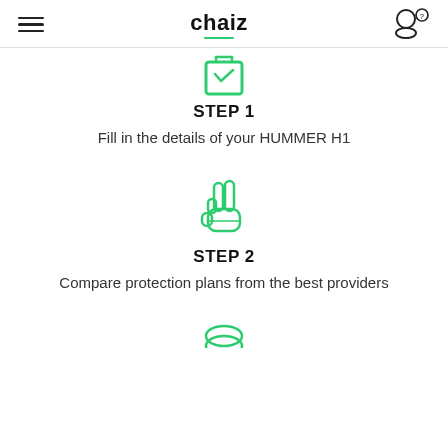chaiz
[Figure (illustration): Green outlined icon of a clipboard/form]
STEP 1
Fill in the details of your HUMMER H1
[Figure (illustration): Green outlined icon of a hand making a peace/two sign]
STEP 2
Compare protection plans from the best providers
[Figure (illustration): Green outlined icon partially visible at bottom]